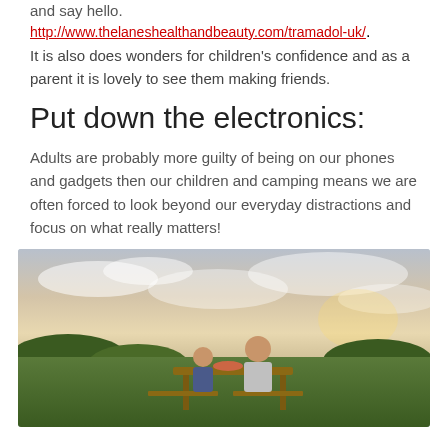and say hello.
http://www.thelaneshealthandbeauty.com/tramadol-uk/.
It is also does wonders for children's confidence and as a parent it is lovely to see them making friends.
Put down the electronics:
Adults are probably more guilty of being on our phones and gadgets then our children and camping means we are often forced to look beyond our everyday distractions and focus on what really matters!
[Figure (photo): Two people sitting at an outdoor picnic table at dusk or sunset, with a scenic countryside landscape in the background including hills and a colorful sky.]